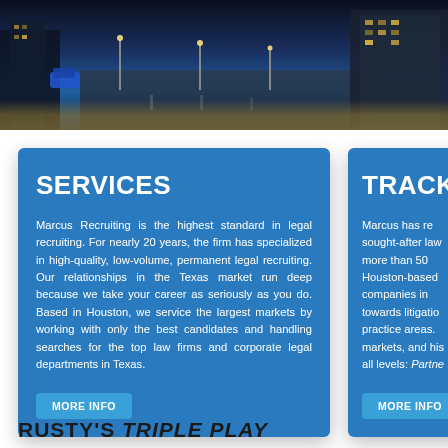[Figure (photo): Night cityscape with illuminated street and modern buildings]
SERVICES
Marcus Recruiting is the highest standard in legal recruiting. For nearly 20 years, the firm has specialized in high-quality, low-volume, permanent legal recruiting. Our relationships in the Texas market run deep because we take your career as seriously as you do. Based in Houston, we service the largest markets by working with only the best candidates and handling searches for the top law firms and corporate legal departments in Texas.
MORE INFO
TRACK-R
Marcus has re sought-after law more than 50 Houston-based companies in towards litigatio practice areas. markets, and his all levels: Partne
MORE INFO
RUSTY'S TRIPLE PLAY